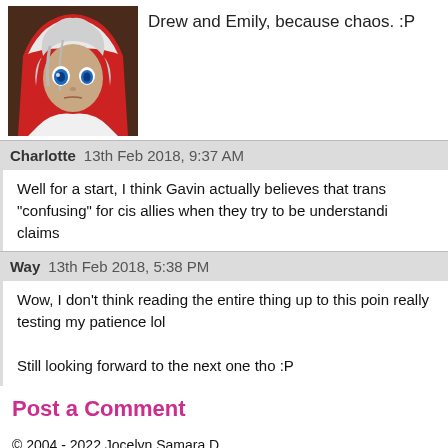Drew and Emily, because chaos. :P
[Figure (illustration): Anime-style character avatar with white/silver hair, blue eye, wearing red and white clothing with a hood]
Charlotte  13th Feb 2018, 9:37 AM
Well for a start, I think Gavin actually believes that trans "confusing" for cis allies when they try to be understanding claims
Way  13th Feb 2018, 5:38 PM
Wow, I don't think reading the entire thing up to this point really testing my patience lol

Still looking forward to the next one tho :P
Post a Comment
© 2004 - 2022 Jocelyn Samara D.
RSS | Comic Profile | ComicFury | Top